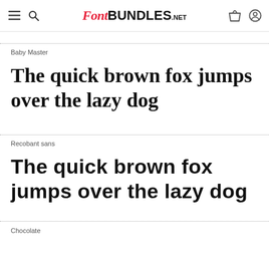FontBundles.net
Baby Master
The quick brown fox jumps over the lazy dog
Recobant sans
The quick brown fox jumps over the lazy dog
Chocolate